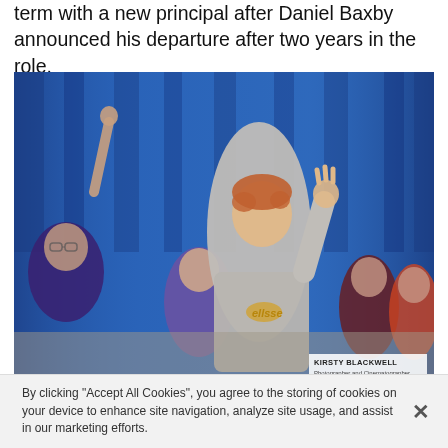term with a new principal after Daniel Baxby announced his departure after two years in the role.
[Figure (photo): A man in a grey Ellesse hoodie with reddish hair raises his hand or gestures among a group of students/children in a gymnasium or hall with blue curtains in the background. Photo credit: Kirsty Blackwell, Photographer and Cinematographer.]
Witchford Village College (WVC) will begin the autumn term with a new principal after Daniel Baxby announced his departure after two years in the role. - Credit: Archant
By clicking "Accept All Cookies", you agree to the storing of cookies on your device to enhance site navigation, analyze site usage, and assist in our marketing efforts.